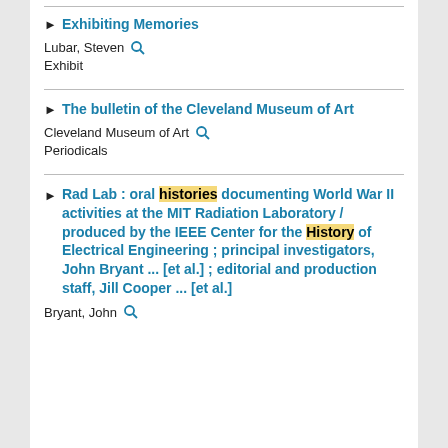Exhibiting Memories
Lubar, Steven
Exhibit
The bulletin of the Cleveland Museum of Art
Cleveland Museum of Art
Periodicals
Rad Lab : oral histories documenting World War II activities at the MIT Radiation Laboratory / produced by the IEEE Center for the History of Electrical Engineering ; principal investigators, John Bryant ... [et al.] ; editorial and production staff, Jill Cooper ... [et al.]
Bryant, John